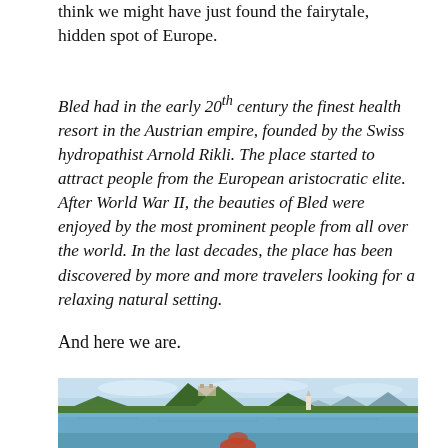think we might have just found the fairytale, hidden spot of Europe.
Bled had in the early 20th century the finest health resort in the Austrian empire, founded by the Swiss hydropathist Arnold Rikli. The place started to attract people from the European aristocratic elite. After World War II, the beauties of Bled were enjoyed by the most prominent people from all over the world. In the last decades, the place has been discovered by more and more travelers looking for a relaxing natural setting.
And here we are.
[Figure (photo): Scenic view of Lake Bled with forested hills, Bled Castle on a cliff, a church with a spire, mountains in the background, and a person with red hair in the foreground at the water's edge.]